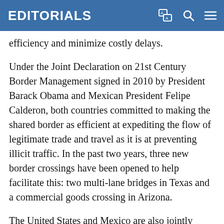EDITORIALS
efficiency and minimize costly delays.
Under the Joint Declaration on 21st Century Border Management signed in 2010 by President Barack Obama and Mexican President Felipe Calderon, both countries committed to making the shared border as efficient at expediting the flow of legitimate trade and travel as it is at preventing illicit traffic. In the past two years, three new border crossings have been opened to help facilitate this: two multi-lane bridges in Texas and a commercial goods crossing in Arizona.
The United States and Mexico are also jointly addressing unnecessary differences in product regulations, which can be a burden on business and ultimately undermine cross border trade. To avoid this,